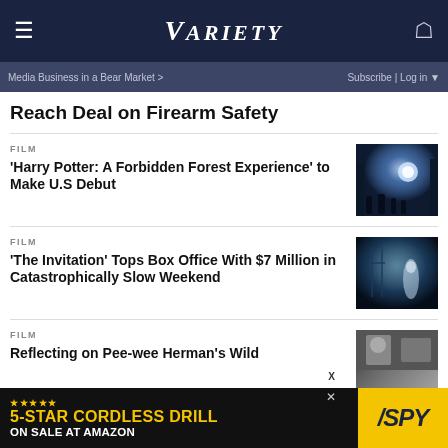VARIETY
Media Business in a Bear Market > | Subscribe | Log in
Reach Deal on Firearm Safety
FILM
'Harry Potter: A Forbidden Forest Experience' to Make U.S Debut
[Figure (photo): Dark fantasy forest scene with glowing creature and silhouetted figures from Harry Potter]
FILM
'The Invitation' Tops Box Office With $7 Million in Catastrophically Slow Weekend
[Figure (photo): Blue-toned dark scene from The Invitation with figure in mist]
FILM
Reflecting on Pee-wee Herman's Wild
[Figure (photo): Black and white photo related to Pee-wee Herman article]
5-STAR CORDLESS DRILL ON SALE AT AMAZON — SPY